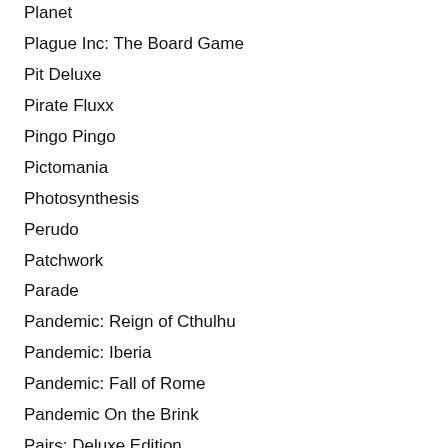Planet
Plague Inc: The Board Game
Pit Deluxe
Pirate Fluxx
Pingo Pingo
Pictomania
Photosynthesis
Perudo
Patchwork
Parade
Pandemic: Reign of Cthulhu
Pandemic: Iberia
Pandemic: Fall of Rome
Pandemic On the Brink
Pairs: Deluxe Edition
Orleans
Orbis
Onitama